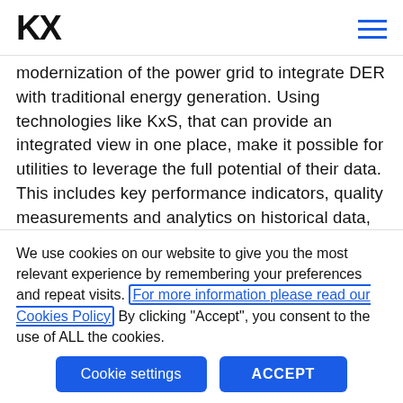KX
modernization of the power grid to integrate DER with traditional energy generation. Using technologies like KxS, that can provide an integrated view in one place, make it possible for utilities to leverage the full potential of their data. This includes key performance indicators, quality measurements and analytics on historical data, providing flexible and extensible support for use cases, and applications requiring converged visibility across IT and OT systems
We use cookies on our website to give you the most relevant experience by remembering your preferences and repeat visits. For more information please read our Cookies Policy By clicking "Accept", you consent to the use of ALL the cookies.
Cookie settings | ACCEPT